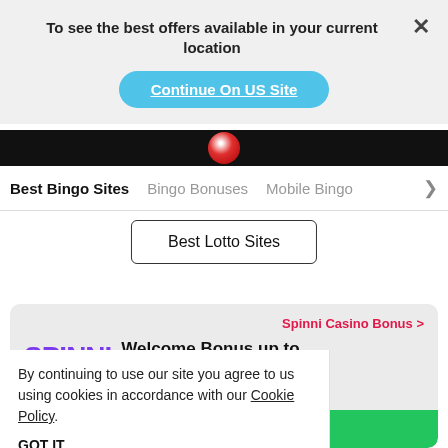To see the best offers available in your current location
Continue On US Site
Best Bingo Sites
Bingo Bonuses
Mobile Bingo
Best Lotto Sites
Spinni Casino Bonus >
Welcome Bonus up to
×10 Free Spins
By continuing to use our site you agree to us using cookies in accordance with our Cookie Policy.
GOT IT